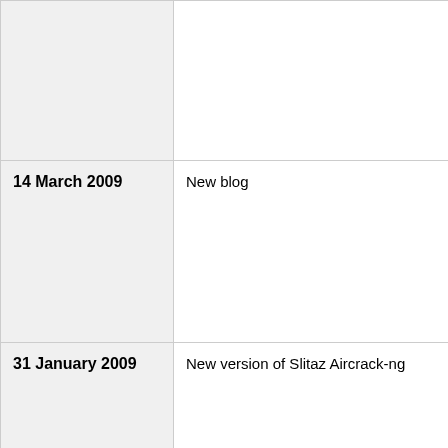| Date | Title | Description |
| --- | --- | --- |
|  |  | More inf the foru in the 🌐 |
| 14 March 2009 | New blog | I just cre aircrack- one :) ) |
| 31 January 2009 | New version of Slitaz Aircrack-ng | We are p release Distribut CD or U allows fo |
| 22 January 2009 | Aircrack-ng 1.0rc2 released | Aircrack Updating was a lo improve added: a ng. On A should b greatly i |